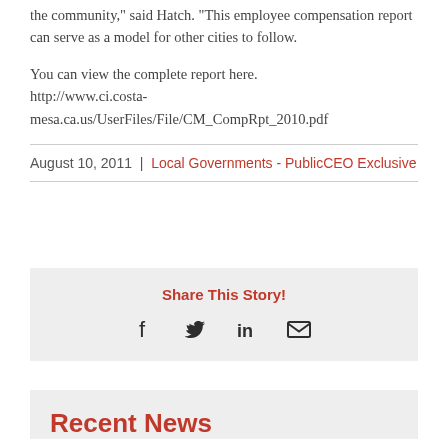the community," said Hatch. "This employee compensation report can serve as a model for other cities to follow.
You can view the complete report here. http://www.ci.costa-mesa.ca.us/UserFiles/File/CM_CompRpt_2010.pdf
August 10, 2011  |  Local Governments - PublicCEO Exclusive
[Figure (infographic): Share This Story! section with social media icons: Facebook, Twitter, LinkedIn, Email]
Recent News